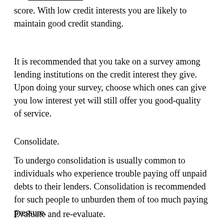score. With low credit interests you are likely to maintain good credit standing.
It is recommended that you take on a survey among lending institutions on the credit interest they give. Upon doing your survey, choose which ones can give you low interest yet will still offer you good-quality of service.
Consolidate.
To undergo consolidation is usually common to individuals who experience trouble paying off unpaid debts to their lenders. Consolidation is recommended for such people to unburden them of too much paying pressure.
Evaluate and re-evaluate.